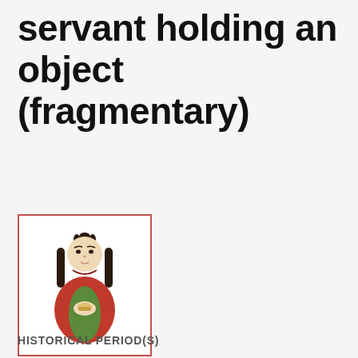servant holding an object (fragmentary)
[Figure (photo): Small ceramic or painted figurine of a seated female servant in traditional East Asian dress, shown from the front, wearing a red and green robe, with dark hair styled up, holding an object in both hands. The figurine is displayed against a white background inside a red-bordered thumbnail frame.]
1 of 1
HISTORICAL PERIOD(S)